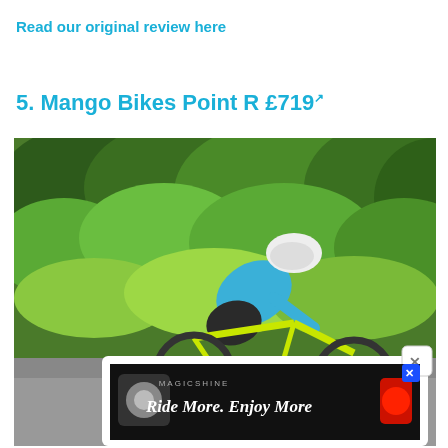Read our original review here
5. Mango Bikes Point R £719 ↗
[Figure (photo): Cyclist riding a neon yellow road bike on a road, wearing a blue and black cycling kit and white helmet, with green hedgerows in the background. An advertisement overlay for Magicshine 'Ride More. Enjoy More' is partially visible at the bottom of the image.]